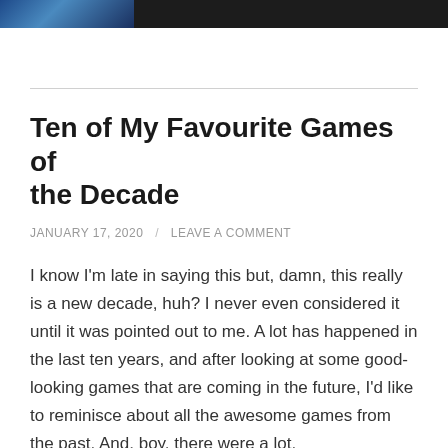[Figure (illustration): Banner image split into two parts: left third is a blue gradient gaming image, right two-thirds is a dark/black background]
Ten of My Favourite Games of the Decade
JANUARY 17, 2020 / LEAVE A COMMENT
I know I'm late in saying this but, damn, this really is a new decade, huh? I never even considered it until it was pointed out to me. A lot has happened in the last ten years, and after looking at some good-looking games that are coming in the future, I'd like to reminisce about all the awesome games from the past. And, boy, there were a lot.